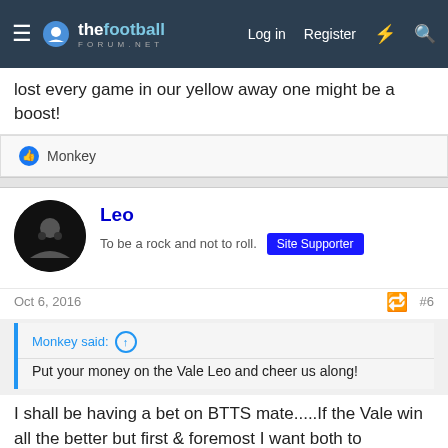thefootball forum.net — Log in | Register
lost every game in our yellow away one might be a boost!
👍 Monkey
Leo
To be a rock and not to roll. [Site Supporter]
Oct 6, 2016  #6
Monkey said: ↑
Put your money on the Vale Leo and cheer us along!
I shall be having a bet on BTTS mate.....If the Vale win all the better but first & foremost I want both to score......🤞😊🤞
👍 Monkey